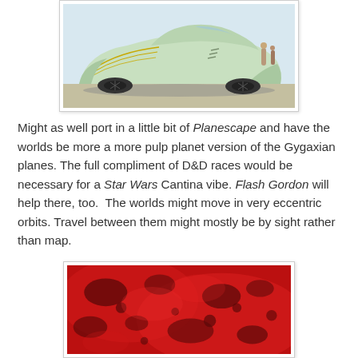[Figure (illustration): Illustration of a futuristic streamlined art deco automobile, light green/yellow in color, with fins and stylized wheel covers, people visible in the background.]
Might as well port in a little bit of Planescape and have the worlds be more a more pulp planet version of the Gygaxian planes. The full compliment of D&D races would be necessary for a Star Wars Cantina vibe. Flash Gordon will help there, too.  The worlds might move in very eccentric orbits. Travel between them might mostly be by sight rather than map.
[Figure (photo): Photograph or illustration of a reddish planet or moon surface with craters and dark patches visible against a red background.]